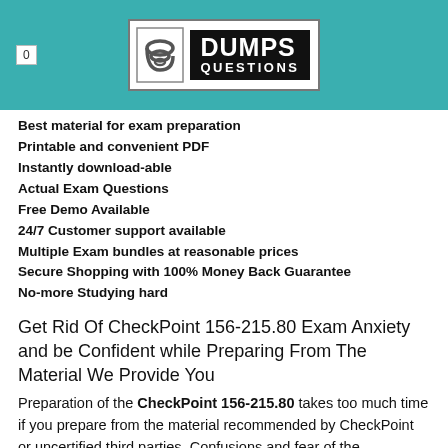0  DUMPS QUESTIONS
Best material for exam preparation
Printable and convenient PDF
Instantly download-able
Actual Exam Questions
Free Demo Available
24/7 Customer support available
Multiple Exam bundles at reasonable prices
Secure Shopping with 100% Money Back Guarantee
No-more Studying hard
Get Rid Of CheckPoint 156-215.80 Exam Anxiety and be Confident while Preparing From The Material We Provide You
Preparation of the CheckPoint 156-215.80 takes too much time if you prepare from the material recommended by CheckPoint or uncertified third parties. Confusions and fear of the CheckPoint 156-215.80 exam questions devastate